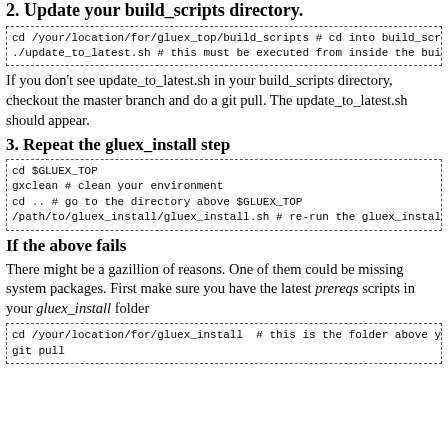2. Update your build_scripts directory.
[Figure (screenshot): Code block: cd /your/location/for/gluex_top/build_scripts # cd into build_scripts
./update_to_latest.sh # this must be executed from inside the build_sc]
If you don't see update_to_latest.sh in your build_scripts directory, checkout the master branch and do a git pull. The update_to_latest.sh should appear.
3. Repeat the gluex_install step
[Figure (screenshot): Code block: cd $GLUEX_TOP
gxclean # clean your environment
cd .. # go to the directory above $GLUEX_TOP
/path/to/gluex_install/gluex_install.sh # re-run the gluex_install.sh]
If the above fails
There might be a gazillion of reasons. One of them could be missing system packages. First make sure you have the latest prereqs scripts in your gluex_install folder
[Figure (screenshot): Code block: cd /your/location/for/gluex_install  # this is the folder above your g
git pull]